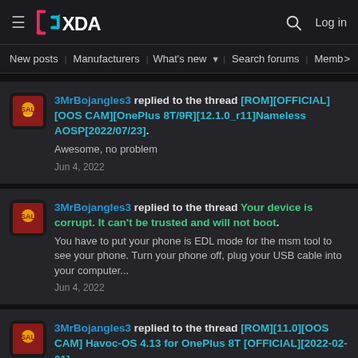XDA Developers — Log in
New posts  Manufacturers  What's new  Search forums  Members  >
3MrBojangles3 replied to the thread [ROM][OFFICIAL][OOS CAM][OnePlus 8T/9R][12.1.0_r11]Nameless AOSP[2022/07/23]. Awesome, no problem. Jun 4, 2022
3MrBojangles3 replied to the thread Your device is corrupt. It can't be trusted and will not boot. You have to put your phone is EDL mode for the msm tool to see your phone. Turn your phone off, plug your USB cable into your computer... Jun 4, 2022
3MrBojangles3 replied to the thread [ROM][11.0][OOS CAM] Havoc-OS 4.13 for OnePlus 8T [OFFICIAL][2022-02-01]